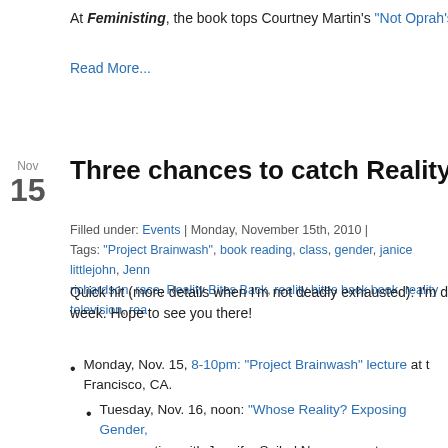At Feministing, the book tops Courtney Martin's "Not Oprah's Book
Read More...
Three chances to catch Reality Bites
Filled under: Events | Monday, November 15th, 2010 |
Tags: "Project Brainwash", book reading, class, gender, janice littlejohn, Jenn richardson, race, Reality Bites Back, reality bites back book, reality television, rea
Quick hit (more details when I'm not deadly exhausted): I'm doing t week. Hope to see you there!
Monday, Nov. 15, 8-10pm: "Project Brainwash" lecture at t Francisco, CA.
Tuesday, Nov. 16, noon: "Whose Reality? Exposing Gender, conversation with Jennifer Seibel Newsom, actress, filmmakerPozner, author
of Reality Bites Back and founder and director of Wome International Museum of Women. Tickets: $15 regular, $10 m tickets, please visit http://imow.org/calendar/index
Wednesday, Nov. 17, 7:30 – 9:30pm: "Sh*t My TV Says: Rev Bites Back reading and public discussion with entertainment